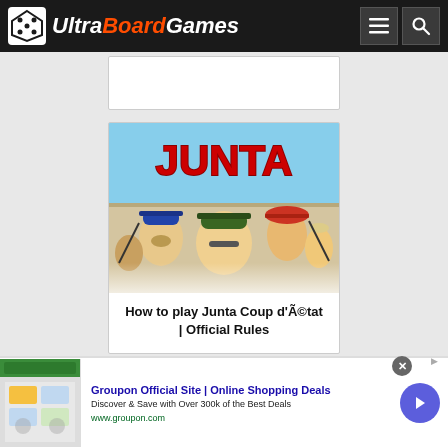Ultra BoardGames
[Figure (screenshot): Partial white card visible at top of content area]
[Figure (photo): Junta board game box cover art showing cartoon military figures with 'JUNTA' text in red letters on blue background]
How to play Junta Coup d'Ã©tat | Official Rules
[Figure (photo): Partial view of another Junta game card/image at bottom showing 'JUNTA' text on teal background]
Groupon Official Site | Online Shopping Deals
Discover & Save with Over 300k of the Best Deals
www.groupon.com